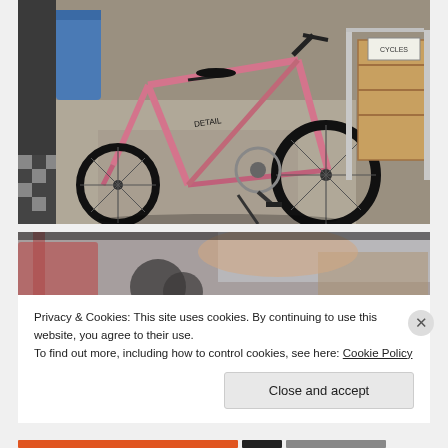[Figure (photo): Pink mountain bicycle lying on a concrete floor indoors, with a wooden rack/carrier visible on the right side. Other bicycle parts and items visible in the background.]
[Figure (photo): Blurred/out-of-focus photo showing bicycle parts, handles and other equipment in the background behind the cookie consent banner.]
Privacy & Cookies: This site uses cookies. By continuing to use this website, you agree to their use.
To find out more, including how to control cookies, see here: Cookie Policy
Close and accept